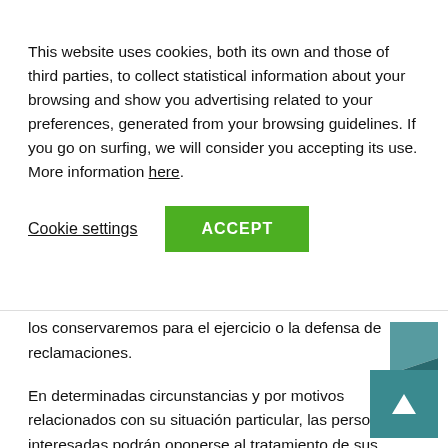This website uses cookies, both its own and those of third parties, to collect statistical information about your browsing and show you advertising related to your preferences, generated from your browsing guidelines. If you go on surfing, we will consider you accepting its use. More information here.
Cookie settings  ACCEPT
los conservaremos para el ejercicio o la defensa de reclamaciones.
En determinadas circunstancias y por motivos relacionados con su situación particular, las personas interesadas podrán oponerse al tratamiento de sus datos. En tal caso, dejarán de tratarse los datos, salvo por motivos legítimos o el ejercicio o la defensa de posibles reclamaciones.